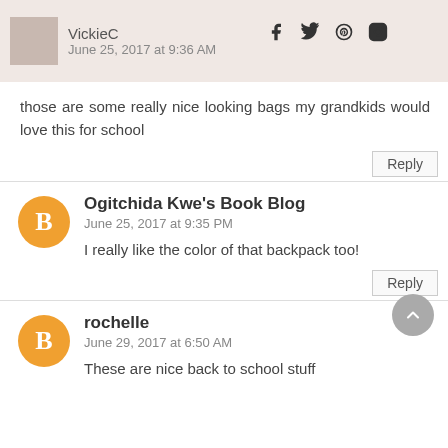VickieC — June 25, 2017 at 9:36 AM
those are some really nice looking bags my grandkids would love this for school
Reply
Ogitchida Kwe's Book Blog — June 25, 2017 at 9:35 PM
I really like the color of that backpack too!
Reply
rochelle — June 29, 2017 at 6:50 AM
These are nice back to school stuff